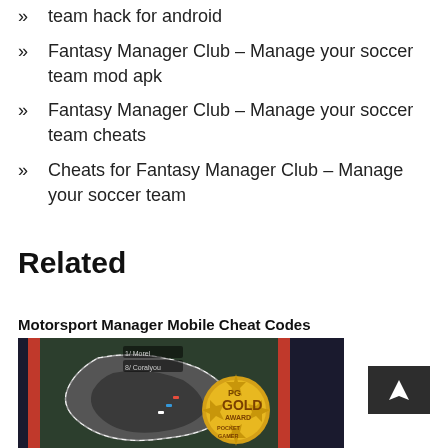team hack for android
Fantasy Manager Club – Manage your soccer team mod apk
Fantasy Manager Club – Manage your soccer team cheats
Cheats for Fantasy Manager Club – Manage your soccer team
Related
Motorsport Manager Mobile Cheat Codes
[Figure (screenshot): Screenshot of Motorsport Manager Mobile game with a PG Gold Award badge from Pocket Gamer overlaid on a racing track aerial view]